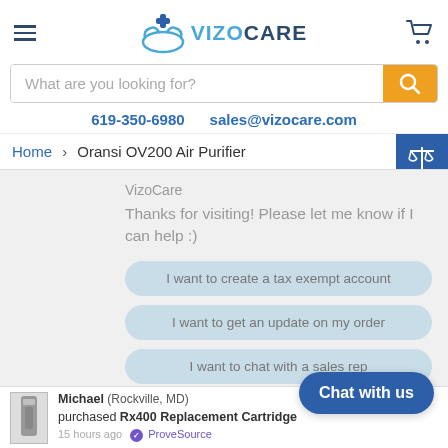[Figure (logo): VizoCare logo with hands and medical cross icon, brand name VIZOCARE in blue]
What are you looking for?
619-350-6980   sales@vizocare.com
Home > Oransi OV200 Air Purifier
VizoCare
Thanks for visiting! Please let me know if I can help :)
I want to create a tax exempt account
I want to get an update on my order
I want to chat with a sales rep
Chat with us
Michael (Rockville, MD) purchased Rx400 Replacement Cartridge
15 hours ago  ProveSource